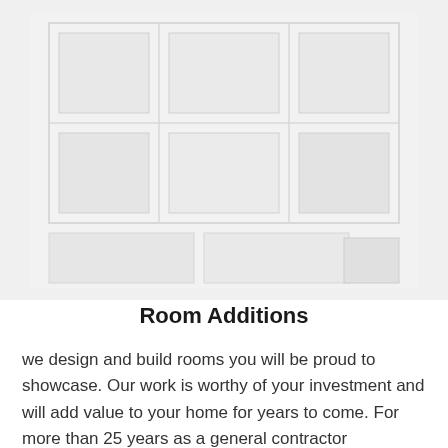[Figure (photo): A washed-out, very light photograph of what appears to be a room interior or architectural structure, rendered in very pale gray tones.]
Room Additions
we design and build rooms you will be proud to showcase. Our work is worthy of your investment and will add value to your home for years to come. For more than 25 years as a general contractor performing full-service room additions. Whether you are adding a game room, media room or more to